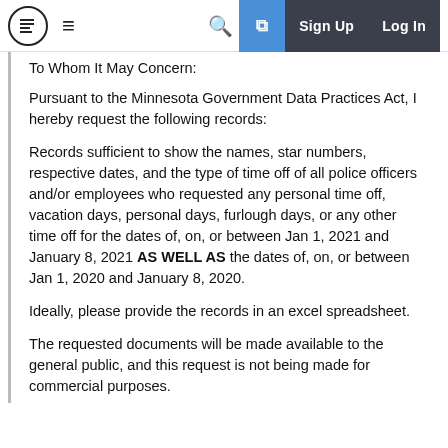Navigation bar with logo, hamburger menu, search, sign up, and log in buttons
To Whom It May Concern:
Pursuant to the Minnesota Government Data Practices Act, I hereby request the following records:
Records sufficient to show the names, star numbers, respective dates, and the type of time off of all police officers and/or employees who requested any personal time off, vacation days, personal days, furlough days, or any other time off for the dates of, on, or between Jan 1, 2021 and January 8, 2021 AS WELL AS the dates of, on, or between Jan 1, 2020 and January 8, 2020.
Ideally, please provide the records in an excel spreadsheet.
The requested documents will be made available to the general public, and this request is not being made for commercial purposes.